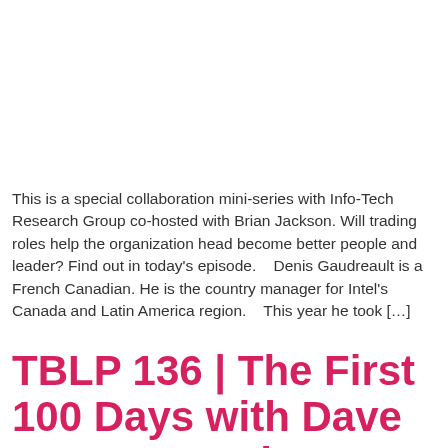This is a special collaboration mini-series with Info-Tech Research Group co-hosted with Brian Jackson. Will trading roles help the organization head become better people and leader? Find out in today's episode.   Denis Gaudreault is a French Canadian. He is the country manager for Intel's Canada and Latin America region.   This year he took […]
TBLP 136 | The First 100 Days with Dave Penny & Andrew Wertkin